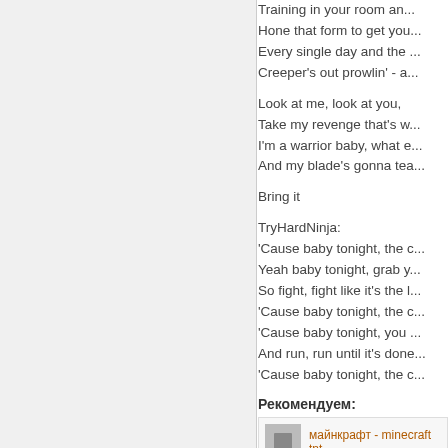Training in your room and...
Hone that form to get you...
Every single day and the...
Creeper's out prowlin' - a...
Look at me, look at you,
Take my revenge that's w...
I'm a warrior baby, what e...
And my blade's gonna tea...
Bring it
TryHardNinja:
'Cause baby tonight, the c...
Yeah baby tonight, grab y...
So fight, fight like it's the l...
'Cause baby tonight, the c...
'Cause baby tonight, you ...
And run, run until it's done...
'Cause baby tonight, the c...
Рекомендуем:
майнкрафт - minecraft tnt...